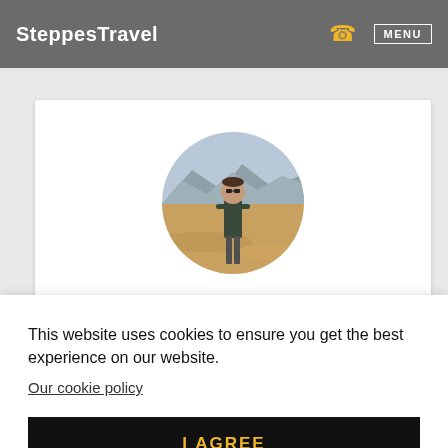SteppesTravel  MENU
[Figure (photo): Circular profile photo of a person standing in a desert landscape with mountains in the background]
This website uses cookies to ensure you get the best experience on our website.
Our cookie policy
I AGREE
without any care of his presence